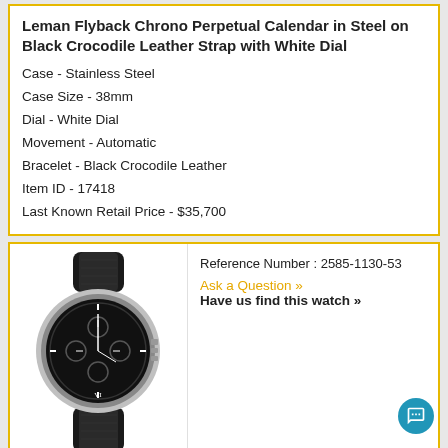Leman Flyback Chrono Perpetual Calendar in Steel on Black Crocodile Leather Strap with White Dial
Case - Stainless Steel
Case Size - 38mm
Dial - White Dial
Movement - Automatic
Bracelet - Black Crocodile Leather
Item ID - 17418
Last Known Retail Price - $35,700
[Figure (photo): Luxury watch - Leman Flyback Perpetual Calendar Steel on Strap with Black Stick Dial, showing black dial with chronograph subdials and black crocodile leather strap]
Reference Number : 2585-1130-53
Ask a Question »
Have us find this watch »
Leman Flyback Perpetual Calendar Steel on Strap with Black Stick Dial